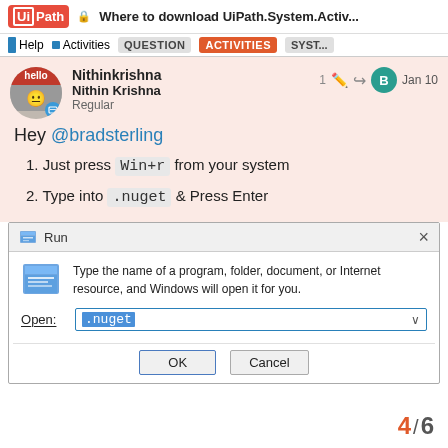UiPath | Where to download UiPath.System.Activ... | Help | Activities | QUESTION | ACTIVITIES | SYST...
Nithinkrishna
Nithin Krishna
Regular
Hey @bradsterling
1. Just press Win+r from your system
2. Type into .nuget & Press Enter
[Figure (screenshot): Windows Run dialog box showing .nuget typed in the Open field, with OK and Cancel buttons]